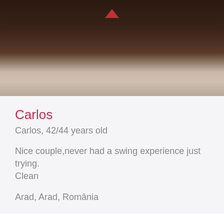[Figure (photo): Close-up photo with dark brown tones, top section of page]
Carlos
Carlos, 42/44 years old
Nice couple,never had a swing experience just trying. Clean
Arad, Arad, România
[Figure (photo): Dark image with speech bubble containing text: HVALA VI ZA ONU KLINIKU.]